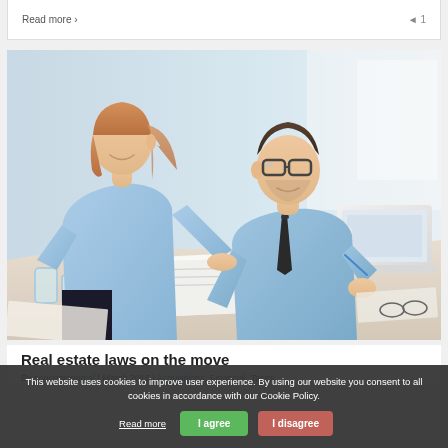Read more >
[Figure (photo): Two business professionals, a woman and a man wearing glasses and a tie, looking at a tablet together at a desk with papers and water glasses]
Real estate laws on the move
By concentoriumal | March 2015 | Acquisitions, Financial, Taxes
This website uses cookies to improve user experience. By using our website you consent to all cookies in accordance with our Cookie Policy.